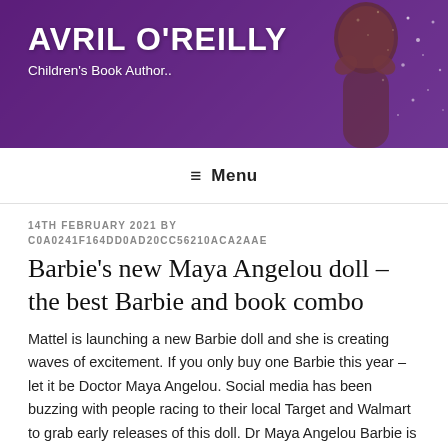[Figure (photo): Purple banner header with a Black woman/girl with hands near face, sparkle dots, dark purple gradient background]
AVRIL O'REILLY
Children's Book Author..
≡ Menu
14TH FEBRUARY 2021 BY C0A0241F164DD0AD20CC56210ACA2AAE
Barbie's new Maya Angelou doll – the best Barbie and book combo
Mattel is launching a new Barbie doll and she is creating waves of excitement. If you only buy one Barbie this year – let it be Doctor Maya Angelou. Social media has been buzzing with people racing to their local Target and Walmart to grab early releases of this doll. Dr Maya Angelou Barbie is part of Mattel's Inspiring Women